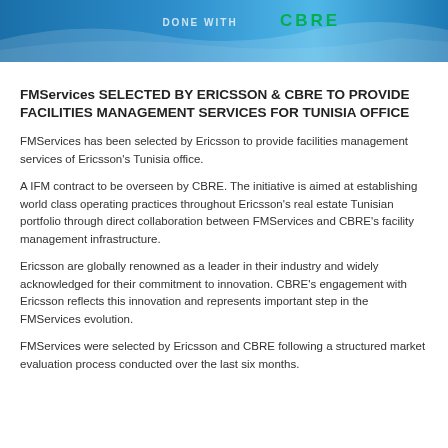[Figure (other): Blue banner header with CBRE logo text and wave design]
FMServices SELECTED BY ERICSSON & CBRE TO PROVIDE FACILITIES MANAGEMENT SERVICES FOR TUNISIA OFFICE
FMServices has been selected by Ericsson to provide facilities management services of Ericsson’s Tunisia office.
A IFM contract to be overseen by CBRE. The initiative is aimed at establishing world class operating practices throughout Ericsson’s real estate Tunisian portfolio through direct collaboration between FMServices and CBRE’s facility management infrastructure.
Ericsson are globally renowned as a leader in their industry and widely acknowledged for their commitment to innovation. CBRE’s engagement with Ericsson reflects this innovation and represents important step in the FMServices evolution.
FMServices were selected by Ericsson and CBRE following a structured market evaluation process conducted over the last six months.